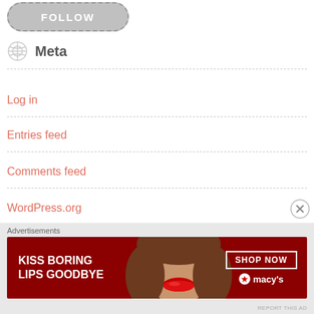[Figure (illustration): Gray rounded Follow button with dashed border at top of page]
Meta
Log in
Entries feed
Comments feed
WordPress.org
Advertisements
[Figure (illustration): Macy's advertisement banner: KISS BORING LIPS GOODBYE with woman's face and SHOP NOW button with Macy's star logo]